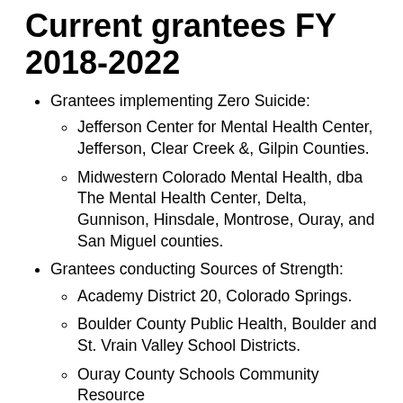Current grantees FY 2018-2022
Grantees implementing Zero Suicide:
Jefferson Center for Mental Health Center, Jefferson, Clear Creek &, Gilpin Counties.
Midwestern Colorado Mental Health, dba The Mental Health Center, Delta, Gunnison, Hinsdale, Montrose, Ouray, and San Miguel counties.
Grantees conducting Sources of Strength:
Academy District 20, Colorado Springs.
Boulder County Public Health, Boulder and St. Vrain Valley School Districts.
Ouray County Schools Community Resource